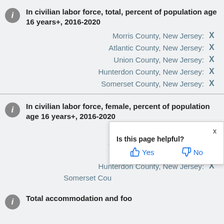In civilian labor force, total, percent of population age 16 years+, 2016-2020
Morris County, New Jersey: X
Atlantic County, New Jersey: X
Union County, New Jersey: X
Hunterdon County, New Jersey: X
Somerset County, New Jersey: X
In civilian labor force, female, percent of population age 16 years+, 2016-2020
Morris County, New Jersey: X
Atlantic County, New Jersey: X
Union County, New Jersey: X
Hunterdon County, New Jersey: X
Somerset Cou[nty, New Jersey: X]
Is this page helpful? X  Yes  No
Total accommodation and foo[d services sales, 2017 ($1,000)]